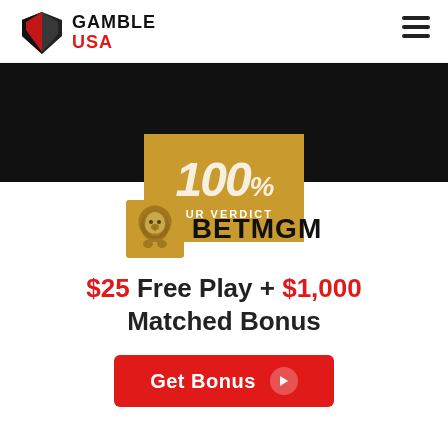[Figure (logo): Gamble USA logo with shield icon and red/black text]
[Figure (other): Hamburger menu icon (three horizontal lines)]
[Figure (other): Dark banner with gold verdict box showing '100%' and 'OUR VERDICT']
[Figure (logo): BetMGM logo with lion icon and bold black text]
$25 Free Play + $1,000 Matched Bonus
[Figure (other): Red 'Get Bonus' button with right arrow]